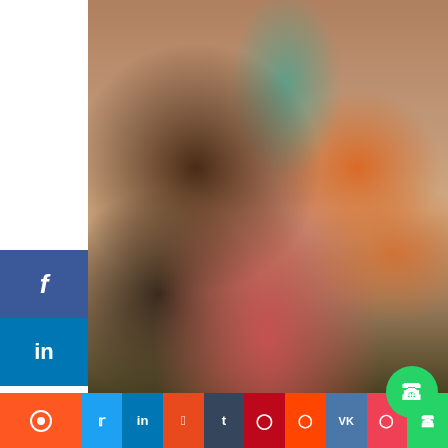[Figure (photo): Group of people outdoors in front of a building. A woman in a teal top with a white Red Cross vest is speaking with others. A man in an orange shirt stands behind. In the foreground, a person in a red-and-white striped top is seen from behind.]
Redcross open detachment isolo local government council
This was made known to us during a road movement in Isolo area of lagos. conducted alert to community on health care workers matters that any time they see red Cross they should be of assistance to carry out the first aid responders to causality